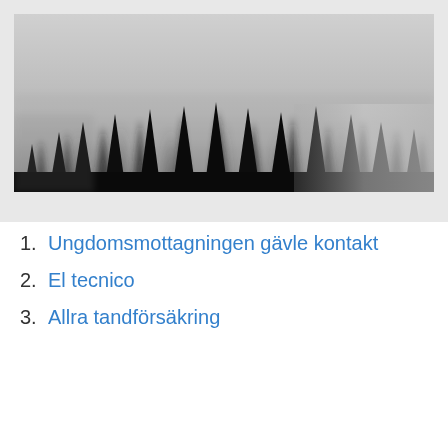[Figure (photo): Black and white photograph of a foggy forest with dark conifer tree silhouettes at the bottom and misty gray sky above]
1. Ungdomsmottagningen gävle kontakt
2. El tecnico
3. Allra tandförsäkring